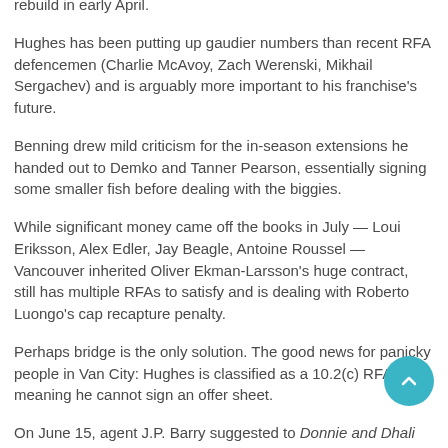rebuild in early April.
Hughes has been putting up gaudier numbers than recent RFA defencemen (Charlie McAvoy, Zach Werenski, Mikhail Sergachev) and is arguably more important to his franchise's future.
Benning drew mild criticism for the in-season extensions he handed out to Demko and Tanner Pearson, essentially signing some smaller fish before dealing with the biggies.
While significant money came off the books in July — Loui Eriksson, Alex Edler, Jay Beagle, Antoine Roussel — Vancouver inherited Oliver Ekman-Larsson's huge contract, still has multiple RFAs to satisfy and is dealing with Roberto Luongo's cap recapture penalty.
Perhaps bridge is the only solution. The good news for panicky people in Van City: Hughes is classified as a 10.2(c) RFA, meaning he cannot sign an offer sheet.
On June 15, agent J.P. Barry suggested to Donnie and Dhali on CHEK that he is exploring a deal longer than five years for Hughes.
Term will be a major sticking point, and fellow RFAs Heiskanen and